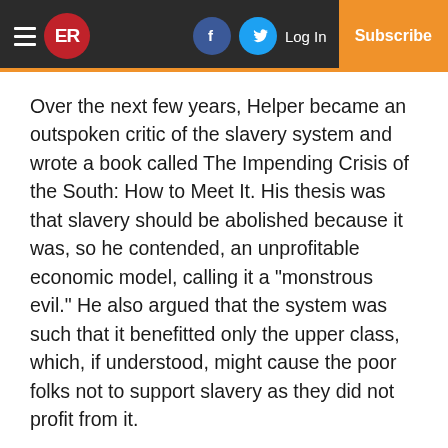ER | Log In | Subscribe
Over the next few years, Helper became an outspoken critic of the slavery system and wrote a book called The Impending Crisis of the South: How to Meet It.  His thesis was that slavery should be abolished because it was, so he contended, an unprofitable economic model, calling it a “monstrous evil.” He also argued that the system was such that it benefitted only the upper class, which, if understood, might cause the poor folks not to support slavery as they did not profit from it.
The book was selected, along with Uncle Tom’s Cabin, by the Republican Party to be used as